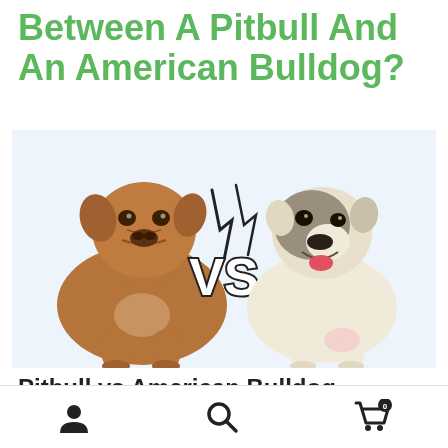Between A Pitbull And An American Bulldog?
[Figure (photo): Side-by-side comparison photo of a brown/red Pitbull dog on the left and a white American Bulldog on the right, with a stylized 'VS' graphic in the center on a light blue background.]
Pitbull vs American Bulldog –
User icon | Search icon | Cart icon (0)